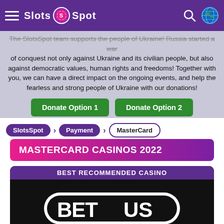Slots Spot
The SlotsSpot team supports the people of Ukraine! Russia started a war of conquest not only against Ukraine and its civilian people, but also against democratic values, human rights and freedoms! Together with you, we can have a direct impact on the ongoing events, and help the fearless and strong people of Ukraine with our donations!
Donate Option 1 | Donate Option 2
SlotsSpot > Payment > MasterCard
MASTERCARD CASINOS 2022
[Figure (logo): BetUS Casino logo on black background with purple top banner reading BEST RECOMMENDED CASINO and pink bottom section reading BetUS Casino]